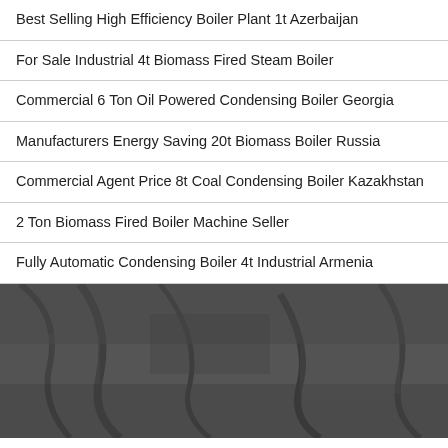Best Selling High Efficiency Boiler Plant 1t Azerbaijan
For Sale Industrial 4t Biomass Fired Steam Boiler
Commercial 6 Ton Oil Powered Condensing Boiler Georgia
Manufacturers Energy Saving 20t Biomass Boiler Russia
Commercial Agent Price 8t Coal Condensing Boiler Kazakhstan
2 Ton Biomass Fired Boiler Machine Seller
Fully Automatic Condensing Boiler 4t Industrial Armenia
[Figure (photo): Dark textured surface resembling rough stone or coal material, photographed in close-up with dark grey tones and natural texture patterns.]